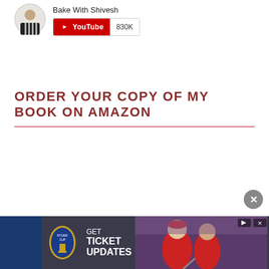[Figure (logo): Circular avatar photo of a person in black and white striped shirt, channel profile image for Bake With Shivesh]
Bake With Shivesh
[Figure (logo): YouTube subscription badge showing red YouTube play button logo with label 'YouTube' and subscriber count '830K']
ORDER YOUR COPY OF MY BOOK ON AMAZON
[Figure (screenshot): Advertisement banner at bottom: Ryder Cup 'GET TICKET UPDATES' ad with Ryder Cup logo, golf players in red USA uniforms, close button X, on dark gray/navy background]